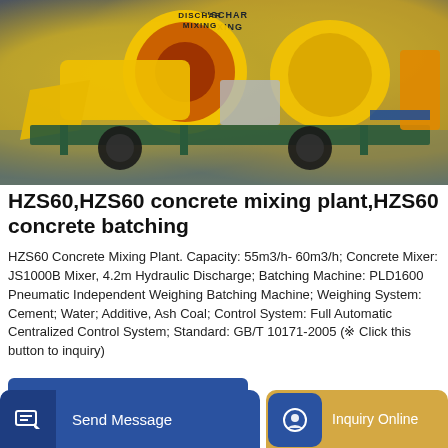[Figure (photo): Yellow HZS60 concrete mixing plant / batching machine on a trailer, showing the large mixing drum labeled DISCHAR and MIXING, with hydraulic and pneumatic components, photographed outdoors.]
HZS60,HZS60 concrete mixing plant,HZS60 concrete batching
HZS60 Concrete Mixing Plant. Capacity: 55m3/h- 60m3/h; Concrete Mixer: JS1000B Mixer, 4.2m Hydraulic Discharge; Batching Machine: PLD1600 Pneumatic Independent Weighing Batching Machine; Weighing System: Cement; Water; Additive, Ash Coal; Control System: Full Automatic Centralized Control System; Standard: GB/T 10171-2005 (※ Click this button to inquiry)
GET A QUOTE
Send Message
Inquiry Online